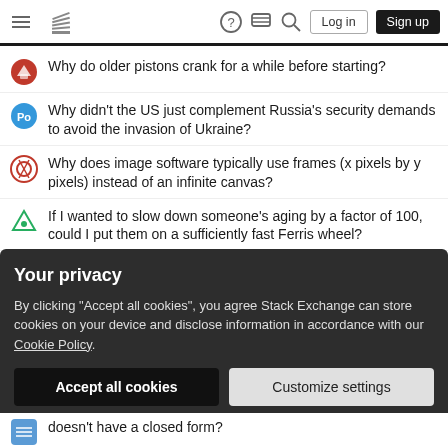Stack Exchange navigation bar with hamburger menu, logo, help, chat, search icons, Log in and Sign up buttons
Why do older pistons crank for a while before starting?
Why didn't the US just complement Russia's security demands to avoid the invasion of Ukraine?
Why does image software typically use frames (x pixels by y pixels) instead of an infinite canvas?
If I wanted to slow down someone's aging by a factor of 100, could I put them on a sufficiently fast Ferris wheel?
Can you prove that proof-by-induction is invalid for the real interval [0, 1]?
What happens to malicious traffic in a scrubbing center during a DDoS attack?
Why is pawn captures on e5 is a blunder in the King's Gambit?
Your privacy
By clicking "Accept all cookies", you agree Stack Exchange can store cookies on your device and disclose information in accordance with our Cookie Policy.
Accept all cookies | Customize settings
doesn't have a closed form?